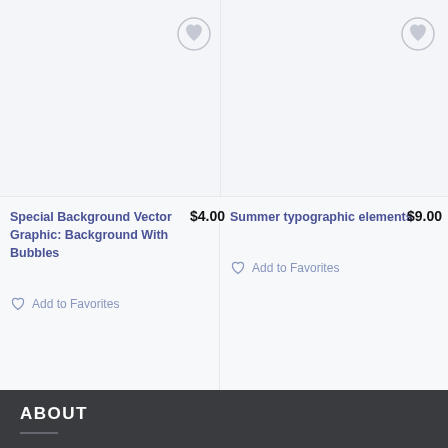[Figure (screenshot): Product listing showing two cards side-by-side with wishlist heart icons]
Special Background Vector Graphic: Background With Bubbles
$4.00
Summer typographic elements
$9.00
Add to Favorites
Add to Favorites
ABOUT